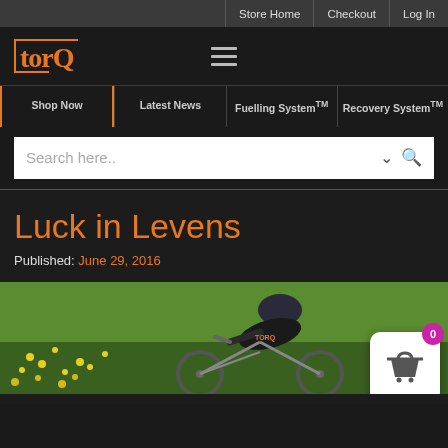Store Home | Checkout | Log In
TORQ
Shop Now
Latest News
Fuelling System™
Recovery System™
Search here..
Luck in Levens
Published: June 29, 2016
[Figure (photo): Cyclist in aerodynamic position wearing TORQ kit riding a time trial bike, with yellow wildflowers in the background]